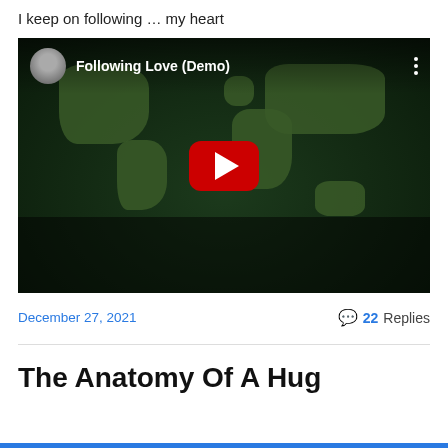I keep on following … my heart
[Figure (screenshot): YouTube video thumbnail showing a world map background with the video title 'Following Love (Demo)', a user avatar in the top left, a three-dot menu in the top right, and a red YouTube play button in the center.]
December 27, 2021
22 Replies
The Anatomy Of A Hug